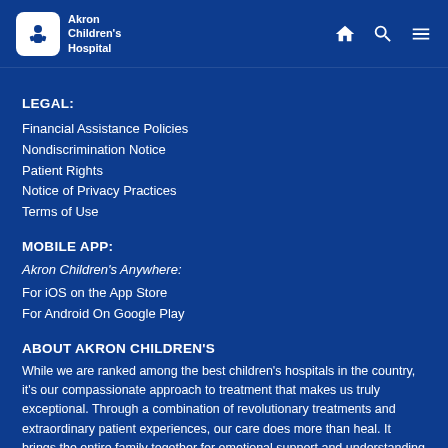Akron Children's Hospital
LEGAL:
Financial Assistance Policies
Nondiscrimination Notice
Patient Rights
Notice of Privacy Practices
Terms of Use
MOBILE APP:
Akron Children's Anywhere:
For iOS on the App Store
For Android On Google Play
ABOUT AKRON CHILDREN'S
While we are ranked among the best children's hospitals in the country, it's our compassionate approach to treatment that makes us truly exceptional. Through a combination of revolutionary treatments and extraordinary patient experiences, our care does more than heal. It brings the entire family together for emotional support and understanding across multiple locations, and even in the community, through...